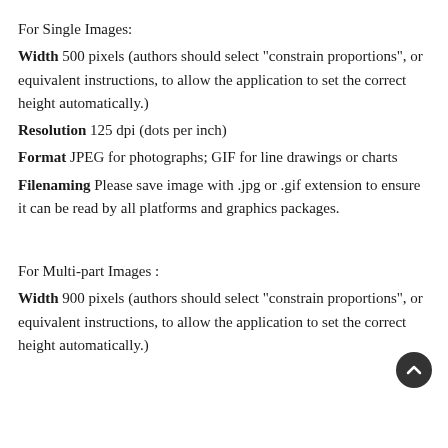For Single Images:
Width 500 pixels (authors should select "constrain proportions", or equivalent instructions, to allow the application to set the correct height automatically.)
Resolution 125 dpi (dots per inch)
Format JPEG for photographs; GIF for line drawings or charts
Filenaming Please save image with .jpg or .gif extension to ensure it can be read by all platforms and graphics packages.
For Multi-part Images :
Width 900 pixels (authors should select "constrain proportions", or equivalent instructions, to allow the application to set the correct height automatically.)